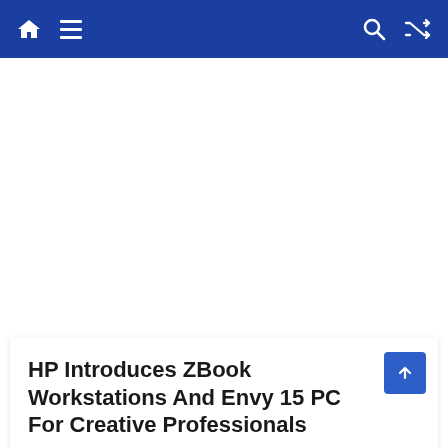Navigation bar with home, menu, search, and shuffle icons
HP Introduces ZBook Workstations And Envy 15 PC For Creative Professionals
May 4, 2020  Durga Prasad Acharya
Leave A Comment